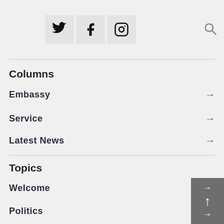Social media icons: Twitter, Facebook, Instagram; Search icon
Columns
Embassy →
Service →
Latest News →
Topics
Welcome →
Politics →